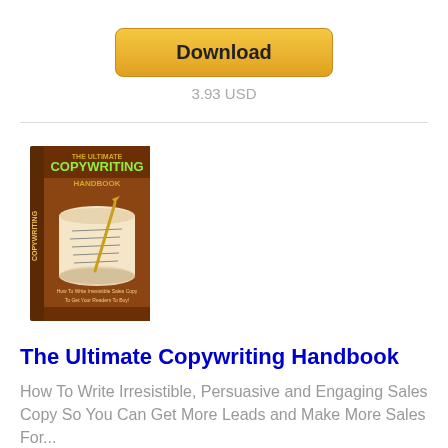[Figure (other): Golden Download button]
3.93 USD
[Figure (illustration): Book cover: The Ultimate Copywriting Handbook — brown cover with scroll and quill]
The Ultimate Copywriting Handbook
How To Write Irresistible, Persuasive and Engaging Sales Copy So You Can Get More Leads and Make More Sales For...
[Figure (other): Golden Download button]
9.00 USD